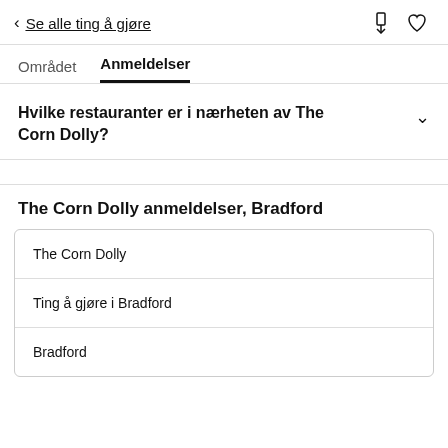< Se alle ting å gjøre
Området  Anmeldelser
Hvilke restauranter er i nærheten av The Corn Dolly?
The Corn Dolly anmeldelser, Bradford
The Corn Dolly
Ting å gjøre i Bradford
Bradford